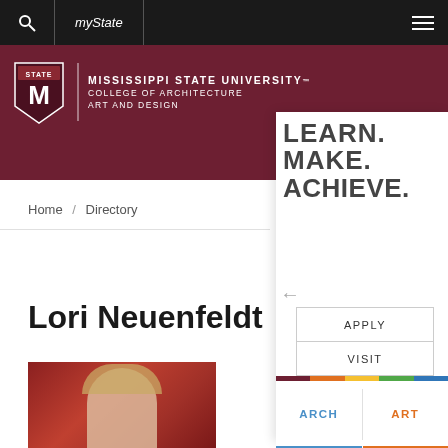myState
[Figure (logo): Mississippi State University College of Architecture Art and Design logo with shield/M emblem]
LEARN. MAKE. ACHIEVE.
Home / Directory
Lori Neuenfeldt
APPLY
VISIT
ARCH
ART
[Figure (photo): Photo of Lori Neuenfeldt, woman with blonde hair against a red background]